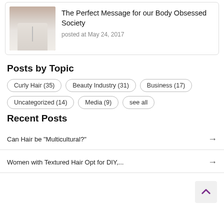[Figure (photo): Thumbnail image of a person in white shorts, upper body cropped]
The Perfect Message for our Body Obsessed Society
posted at May 24, 2017
Posts by Topic
Curly Hair (35)
Beauty Industry (31)
Business (17)
Uncategorized (14)
Media (9)
see all
Recent Posts
Can Hair be "Multicultural?"
Women with Textured Hair Opt for DIY,...